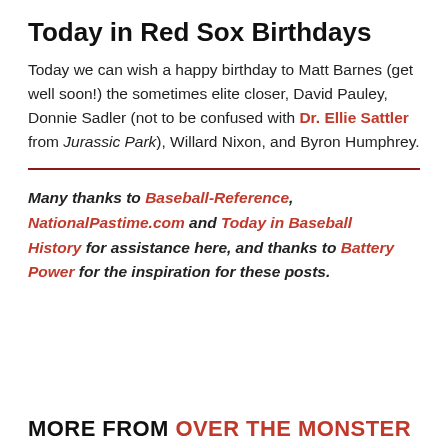Today in Red Sox Birthdays
Today we can wish a happy birthday to Matt Barnes (get well soon!) the sometimes elite closer, David Pauley, Donnie Sadler (not to be confused with Dr. Ellie Sattler from Jurassic Park), Willard Nixon, and Byron Humphrey.
Many thanks to Baseball-Reference, NationalPastime.com and Today in Baseball History for assistance here, and thanks to Battery Power for the inspiration for these posts.
MORE FROM OVER THE MONSTER